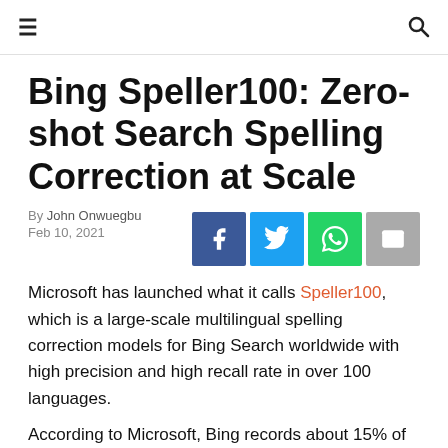≡  🔍
Bing Speller100: Zero-shot Search Spelling Correction at Scale
By John Onwuegbu
Feb 10, 2021
Microsoft has launched what it calls Speller100, which is a large-scale multilingual spelling correction models for Bing Search worldwide with high precision and high recall rate in over 100 languages.
According to Microsoft, Bing records about 15% of